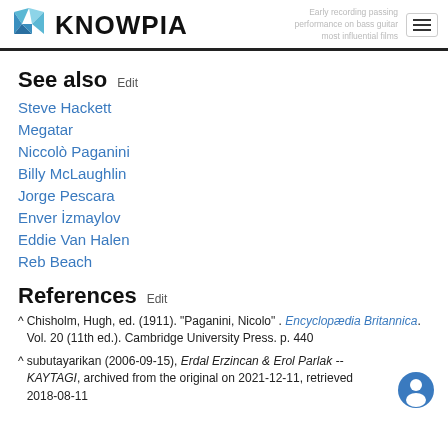KNOWPIA
See also  Edit
Steve Hackett
Megatar
Niccolò Paganini
Billy McLaughlin
Jorge Pescara
Enver İzmaylov
Eddie Van Halen
Reb Beach
References  Edit
^ Chisholm, Hugh, ed. (1911). "Paganini, Nicolo" . Encyclopædia Britannica. Vol. 20 (11th ed.). Cambridge University Press. p. 440
^ subutayarikan (2006-09-15), Erdal Erzincan & Erol Parlak -- KAYTAGI, archived from the original on 2021-12-11, retrieved 2018-08-11